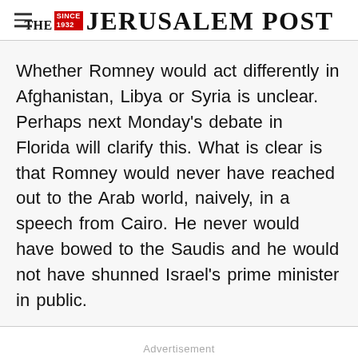THE JERUSALEM POST
Whether Romney would act differently in Afghanistan, Libya or Syria is unclear. Perhaps next Monday’s debate in Florida will clarify this. What is clear is that Romney would never have reached out to the Arab world, naively, in a speech from Cairo. He never would have bowed to the Saudis and he would not have shunned Israel’s prime minister in public.
Advertisement